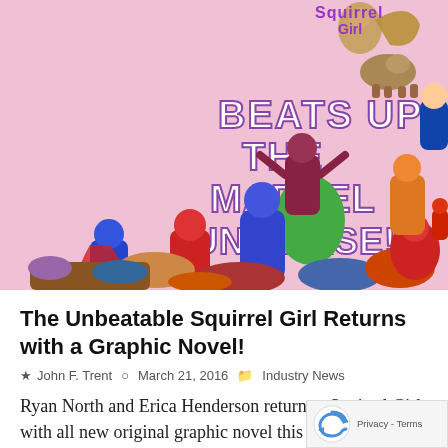[Figure (illustration): Comic book cover art showing 'The Unbeatable Squirrel Girl Beats Up the Marvel Universe!' with a pink background, a pile of superheroes, and large bold white text reading 'BEATS UP THE MARVEL UNIVERSE!']
The Unbeatable Squirrel Girl Returns with a Graphic Novel!
John F. Trent   March 21, 2016   Industry News
Ryan North and Erica Henderson return to Squirrel Girl with all new original graphic novel this Fall. Squirrel Girl has beaten Thanos, bested Galactus, thwarted Doctor Doom, but is about to face her most